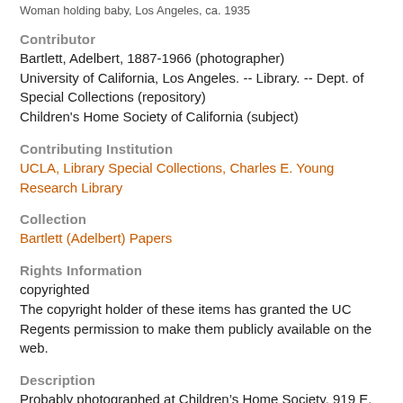Woman holding baby, Los Angeles, ca. 1935
Contributor
Bartlett, Adelbert, 1887-1966 (photographer)
University of California, Los Angeles. -- Library. -- Dept. of Special Collections (repository)
Children's Home Society of California (subject)
Contributing Institution
UCLA, Library Special Collections, Charles E. Young Research Library
Collection
Bartlett (Adelbert) Papers
Rights Information
copyrighted
The copyright holder of these items has granted the UC Regents permission to make them publicly available on the web.
Description
Probably photographed at Children’s Home Society, 919 E. 25th Street, Los Angeles, about 1935
34.015121375972065